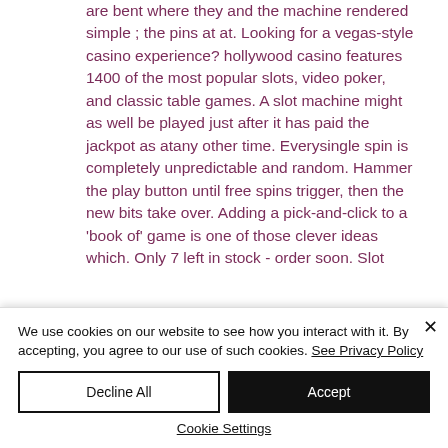are bent where they and the machine rendered simple ; the pins at at. Looking for a vegas-style casino experience? hollywood casino features 1400 of the most popular slots, video poker, and classic table games. A slot machine might as well be played just after it has paid the jackpot as atany other time. Everysingle spin is completely unpredictable and random. Hammer the play button until free spins trigger, then the new bits take over. Adding a pick-and-click to a 'book of' game is one of those clever ideas which. Only 7 left in stock - order soon. Slot
We use cookies on our website to see how you interact with it. By accepting, you agree to our use of such cookies. See Privacy Policy
Decline All
Accept
Cookie Settings